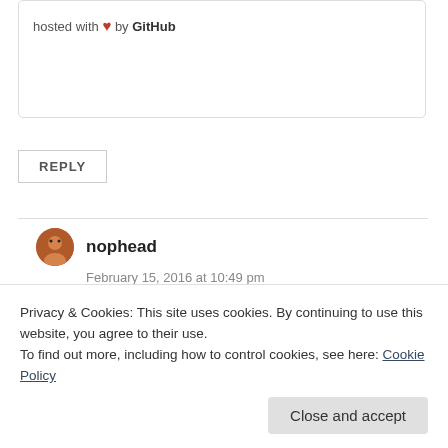hosted with ❤ by GitHub
REPLY
nophead
February 15, 2016 at 10:49 pm
Because the tool path from the slicer is a square with vertices in the positions I calculated. So if you
Privacy & Cookies: This site uses cookies. By continuing to use this website, you agree to their use.
To find out more, including how to control cookies, see here: Cookie Policy
Close and accept
sqrt(2) * w/2 + w/2 for a square with rounded